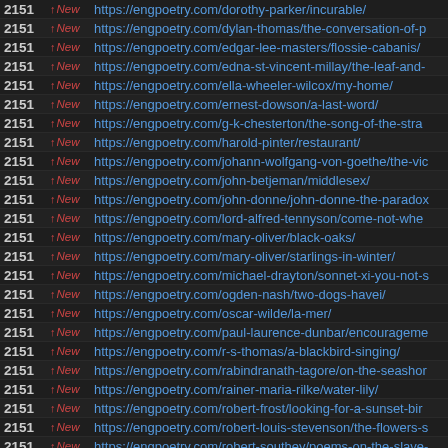| # | Status | URL |
| --- | --- | --- |
| 2151 | ↑New | https://engpoetry.com/dorothy-parker/incurable/ |
| 2151 | ↑New | https://engpoetry.com/dylan-thomas/the-conversation-of-p |
| 2151 | ↑New | https://engpoetry.com/edgar-lee-masters/flossie-cabanis/ |
| 2151 | ↑New | https://engpoetry.com/edna-st-vincent-millay/the-leaf-and- |
| 2151 | ↑New | https://engpoetry.com/ella-wheeler-wilcox/my-home/ |
| 2151 | ↑New | https://engpoetry.com/ernest-dowson/a-last-word/ |
| 2151 | ↑New | https://engpoetry.com/g-k-chesterton/the-song-of-the-stra |
| 2151 | ↑New | https://engpoetry.com/harold-pinter/restaurant/ |
| 2151 | ↑New | https://engpoetry.com/johann-wolfgang-von-goethe/the-vic |
| 2151 | ↑New | https://engpoetry.com/john-betjeman/middlesex/ |
| 2151 | ↑New | https://engpoetry.com/john-donne/john-donne-the-paradox |
| 2151 | ↑New | https://engpoetry.com/lord-alfred-tennyson/come-not-whe |
| 2151 | ↑New | https://engpoetry.com/mary-oliver/black-oaks/ |
| 2151 | ↑New | https://engpoetry.com/mary-oliver/starlings-in-winter/ |
| 2151 | ↑New | https://engpoetry.com/michael-drayton/sonnet-xi-you-not-s |
| 2151 | ↑New | https://engpoetry.com/ogden-nash/two-dogs-havei/ |
| 2151 | ↑New | https://engpoetry.com/oscar-wilde/la-mer/ |
| 2151 | ↑New | https://engpoetry.com/paul-laurence-dunbar/encourageme |
| 2151 | ↑New | https://engpoetry.com/r-s-thomas/a-blackbird-singing/ |
| 2151 | ↑New | https://engpoetry.com/rabindranath-tagore/on-the-seashor |
| 2151 | ↑New | https://engpoetry.com/rainer-maria-rilke/water-lily/ |
| 2151 | ↑New | https://engpoetry.com/robert-frost/looking-for-a-sunset-bir |
| 2151 | ↑New | https://engpoetry.com/robert-louis-stevenson/the-flowers-s |
| 2151 | ↑New | https://engpoetry.com/robert-southey/poems-on-the-slave- |
| 2151 | ↑New | https://engpoetry.com/robert-william-service/maternity/ |